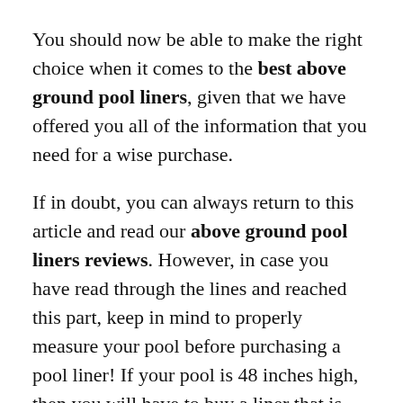You should now be able to make the right choice when it comes to the best above ground pool liners, given that we have offered you all of the information that you need for a wise purchase.
If in doubt, you can always return to this article and read our above ground pool liners reviews. However, in case you have read through the lines and reached this part, keep in mind to properly measure your pool before purchasing a pool liner! If your pool is 48 inches high, then you will have to buy a liner that is designed for 48-inch pools!
Furthermore, try to care for your liner as much as you care for your pool. The pool liner has to be washed and cleaned better than the outer wall of